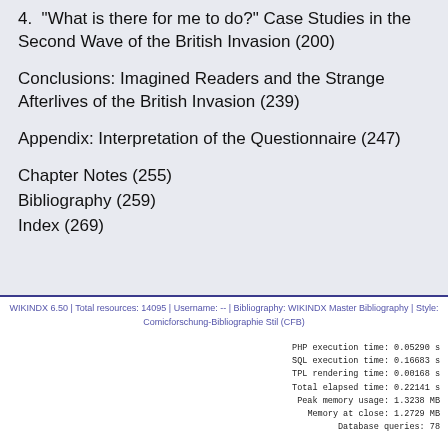4.  "What is there for me to do?" Case Studies in the Second Wave of the British Invasion (200)
Conclusions: Imagined Readers and the Strange Afterlives of the British Invasion (239)
Appendix: Interpretation of the Questionnaire (247)
Chapter Notes (255)
Bibliography (259)
Index (269)
WIKINDX 6.50 | Total resources: 14095 | Username: -- | Bibliography: WIKINDX Master Bibliography | Style: Comicforschung-Bibliographie Stil (CFB)
PHP execution time: 0.05290 s
SQL execution time: 0.16683 s
TPL rendering time: 0.00168 s
Total elapsed time: 0.22141 s
Peak memory usage: 1.3238 MB
Memory at close: 1.2729 MB
Database queries: 78